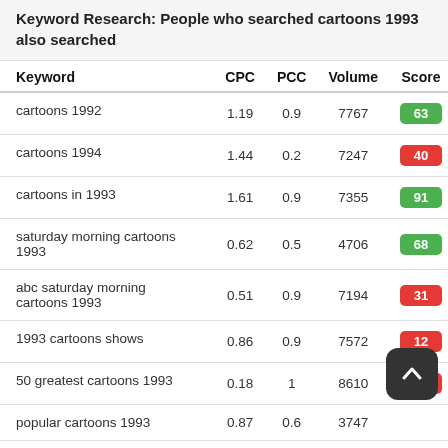Keyword Research: People who searched cartoons 1993 also searched
| Keyword | CPC | PCC | Volume | Score |
| --- | --- | --- | --- | --- |
| cartoons 1992 | 1.19 | 0.9 | 7767 | 63 |
| cartoons 1994 | 1.44 | 0.2 | 7247 | 40 |
| cartoons in 1993 | 1.61 | 0.9 | 7355 | 91 |
| saturday morning cartoons 1993 | 0.62 | 0.5 | 4706 | 68 |
| abc saturday morning cartoons 1993 | 0.51 | 0.9 | 7194 | 31 |
| 1993 cartoons shows | 0.86 | 0.9 | 7572 | 12 |
| 50 greatest cartoons 1993 | 0.18 | 1 | 8610 | 27 |
| popular cartoons 1993 | 0.87 | 0.6 | 3747 |  |
| saturday morning cartoons | 1.26 | 0.3 | 3426 | 76 |